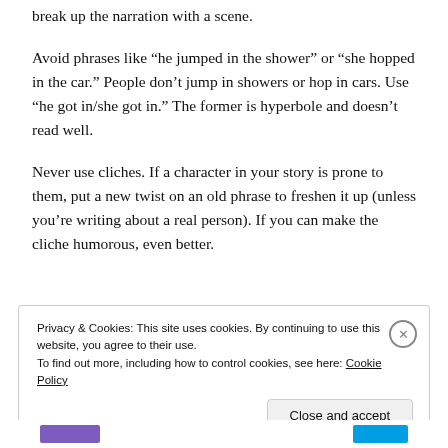break up the narration with a scene.
Avoid phrases like “he jumped in the shower” or “she hopped in the car.” People don’t jump in showers or hop in cars. Use “he got in/she got in.” The former is hyperbole and doesn’t read well.
Never use cliches. If a character in your story is prone to them, put a new twist on an old phrase to freshen it up (unless you’re writing about a real person). If you can make the cliche humorous, even better.
Privacy & Cookies: This site uses cookies. By continuing to use this website, you agree to their use.
To find out more, including how to control cookies, see here: Cookie Policy
[Close and accept]